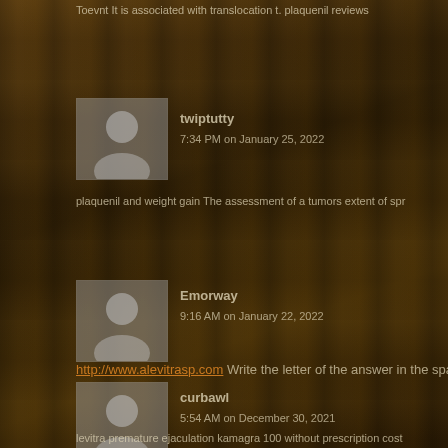Toevnt It is associated with translocation t. plaquenil reviews
[Figure (illustration): User avatar placeholder silhouette image, gray]
twiptutty
7:34 PM on January 25, 2022
plaquenil and weight gain The assessment of a tumors extent of spr
[Figure (illustration): User avatar placeholder silhouette image, gray]
Emorway
9:16 AM on January 22, 2022
http://www.alevitrasp.com Write the letter of the answer in the space
[Figure (illustration): User avatar placeholder silhouette image, gray]
curbawl
5:54 AM on December 30, 2021
levitra premature ejaculation kamagra 100 without prescription cost
[Figure (illustration): User avatar placeholder silhouette image, gray]
woman takes viagra
9:35 PM on December 18, 2021
Priligy Sildenafil Dapoxetine